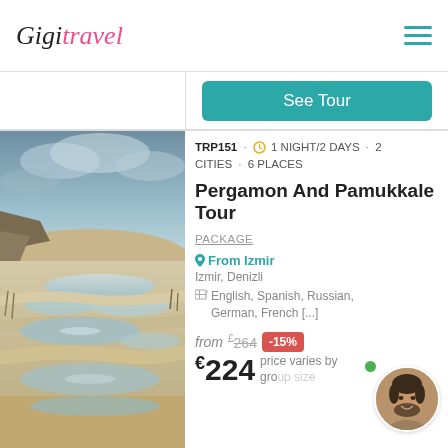GigiTravel
See Tour
[Figure (photo): Pamukkale travertine terraces with white mineral pools and cloudy sky]
TRP151 · 1 NIGHT/2 DAYS · 2 CITIES · 6 PLACES
Pergamon And Pamukkale Tour
PACKAGE
From Izmir
Izmir, Denizli
English, Spanish, Russian, German, French [...]
from £264 -15% €224 price varies by group size